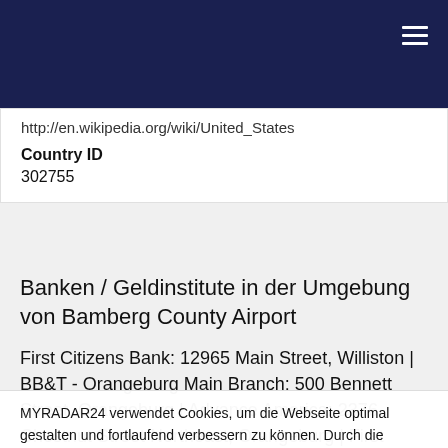http://en.wikipedia.org/wiki/United_States
Country ID
302755
Banken / Geldinstitute in der Umgebung von Bamberg County Airport
First Citizens Bank: 12965 Main Street, Williston | BB&T - Orangeburg Main Branch: 500 Bennett Street, Orangeburg | Advance America: 2376 Chestnut Street Northeast, Orangeburg | First Citizens Bank: 791 Broughton St, Orangeburg | Enterprise Bank of South
MYRADAR24 verwendet Cookies, um die Webseite optimal gestalten und fortlaufend verbessern zu können. Durch die weitere Nutzung stimmen Sie der Verwendung von Cookies zu.
OK